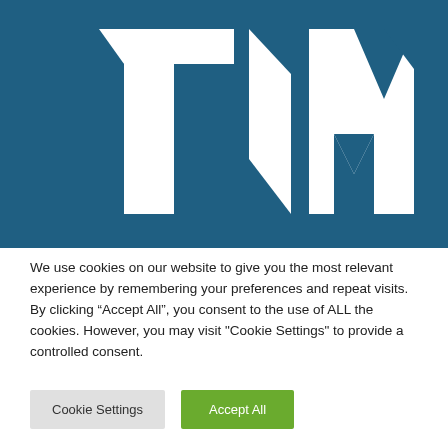[Figure (logo): TIM logo — large white stylized letters T, I, M on a dark teal/blue background]
We use cookies on our website to give you the most relevant experience by remembering your preferences and repeat visits. By clicking “Accept All”, you consent to the use of ALL the cookies. However, you may visit "Cookie Settings" to provide a controlled consent.
Cookie Settings
Accept All